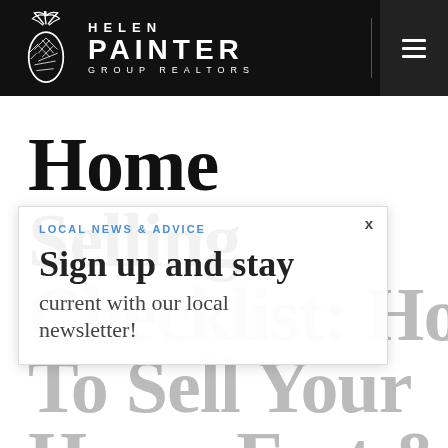[Figure (logo): Helen Painter Group Realtors logo with pineapple icon on black header bar with hamburger menu button]
Home Selling Checklist: How To Sell Your Home Fast & For
LOCAL NEWS & ADVICE
Sign up and stay current with our local newsletter!